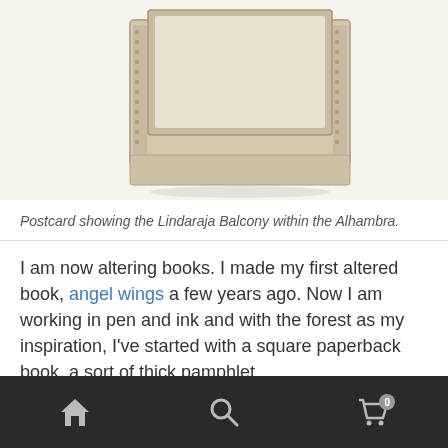[Figure (photo): Partial top view of a decorative cardboard or papier-mâché box or book structure with ornate trim, sitting on a white background]
Postcard showing the Lindaraja Balcony within the Alhambra.
I am now altering books. I made my first altered book, angel wings a few years ago. Now I am working in pen and ink and with the forest as my inspiration, I've started with a square paperback book, a sort of thick pamphlet.
[Figure (photo): Bottom portion of a photo showing a white rectangular object (book or pamphlet) lying on a grey weathered wooden surface]
[Figure (screenshot): Mobile navigation bar with home, search, and cart icons on dark background. Cart shows badge with 0.]